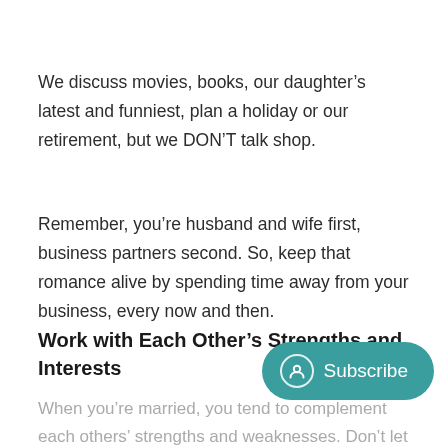We discuss movies, books, our daughter’s latest and funniest, plan a holiday or our retirement, but we DON’T talk shop.
Remember, you’re husband and wife first, business partners second. So, keep that romance alive by spending time away from your business, every now and then.
Work with Each Other’s Strengths and Interests
When you’re married, you tend to complement each others’ strengths and weaknesses. Don’t let that change when you